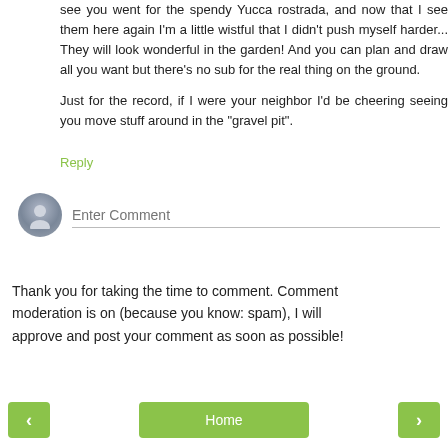see you went for the spendy Yucca rostrada, and now that I see them here again I'm a little wistful that I didn't push myself harder... They will look wonderful in the garden! And you can plan and draw all you want but there's no sub for the real thing on the ground.

Just for the record, if I were your neighbor I'd be cheering seeing you move stuff around in the "gravel pit".
Reply
[Figure (other): User avatar placeholder icon (grey circular avatar with silhouette) next to 'Enter Comment' input field]
Thank you for taking the time to comment. Comment moderation is on (because you know: spam), I will approve and post your comment as soon as possible!
[Figure (other): Navigation bar with three green buttons: left arrow, Home, right arrow]